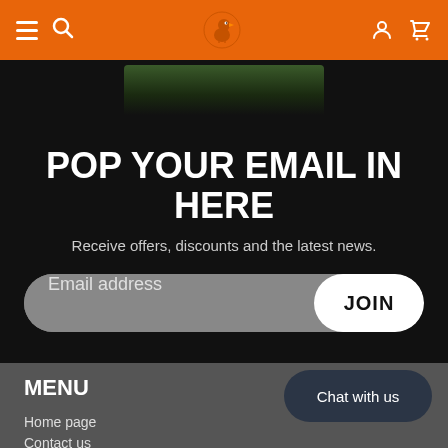Navigation header with hamburger menu, search icon, logo, user icon, cart icon
[Figure (photo): Partial hero image showing textured dark green/brown surface against black background]
POP YOUR EMAIL IN HERE
Receive offers, discounts and the latest news.
Email address JOIN
MENU
Chat with us
Home page
Contact us